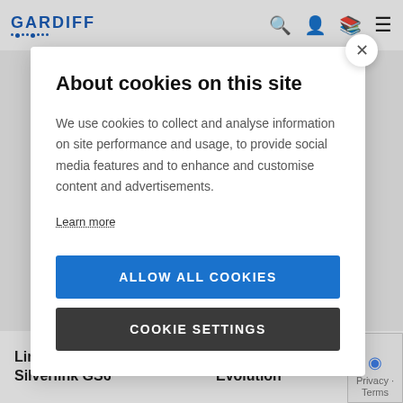[Figure (logo): Gardiff logo with blue text and dot decoration]
About cookies on this site
We use cookies to collect and analyse information on site performance and usage, to provide social media features and to enhance and customise content and advertisements.
Learn more
ALLOW ALL COOKIES
COOKIE SETTINGS
Lincat Silverlink GS6
Blue Seal Evolution